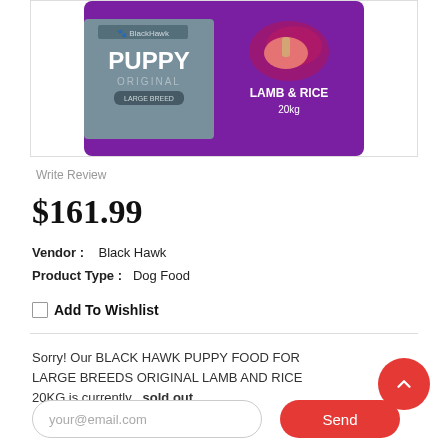[Figure (photo): Black Hawk Puppy Original Large Breed Lamb & Rice 20kg dog food bag, purple/maroon packaging with grey label panel]
Write Review
$161.99
Vendor :   Black Hawk
Product Type :   Dog Food
Add To Wishlist
Sorry! Our BLACK HAWK PUPPY FOOD FOR LARGE BREEDS ORIGINAL LAMB AND RICE 20KG is currently sold out.
your@email.com
Send